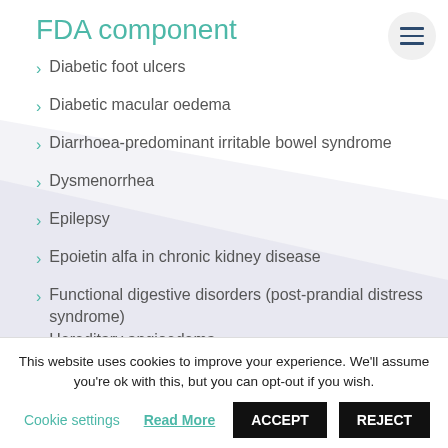FDA component
Diabetic foot ulcers
Diabetic macular oedema
Diarrhoea-predominant irritable bowel syndrome
Dysmenorrhea
Epilepsy
Epoietin alfa in chronic kidney disease
Functional digestive disorders (post-prandial distress syndrome)
Hereditary angioedema
Hypogonadism
Major depressive disorder
This website uses cookies to improve your experience. We'll assume you're ok with this, but you can opt-out if you wish.
Cookie settings  Read More  ACCEPT  REJECT